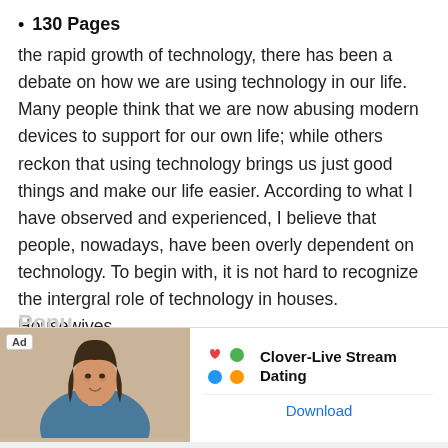130 Pages
the rapid growth of technology, there has been a debate on how we are using technology in our life. Many people think that we are now abusing modern devices to support for our own life; while others reckon that using technology brings us just good things and make our life easier. According to what I have observed and experienced, I believe that people, nowadays, have been overly dependent on technology. To begin with, it is not hard to recognize the intergral role of technology in houses. Housewives…
[Figure (other): Blue rounded rectangle button with white text reading 'Read More']
[Figure (other): Advertisement banner for Clover-Live Stream Dating app with photo of a woman and app logo. Contains Ad label, app logo (four-leaf clover design in red, green, orange, blue), app name, and Download link.]